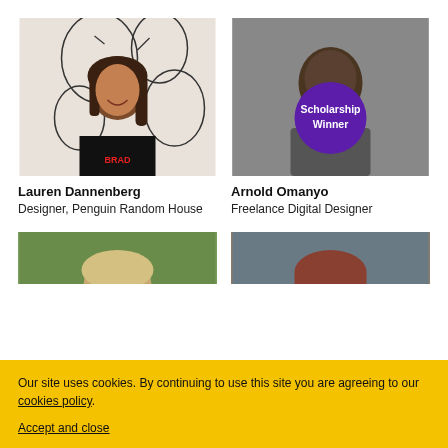[Figure (photo): Photo of Lauren Dannenberg, a woman with long dark hair wearing a black top, standing in front of a wall with abstract line art faces]
[Figure (photo): Photo of Arnold Omanyo, a man in a grey top, with a purple circular badge reading 'Scholarship Winner']
Lauren Dannenberg
Designer, Penguin Random House
Arnold Omanyo
Freelance Digital Designer
[Figure (photo): Partial photo of a person with light hair outdoors with green background]
[Figure (photo): Partial photo of a woman with reddish-brown hair outdoors]
Our site uses cookies. By continuing to use this site you are agreeing to our cookies policy.
Accept and close